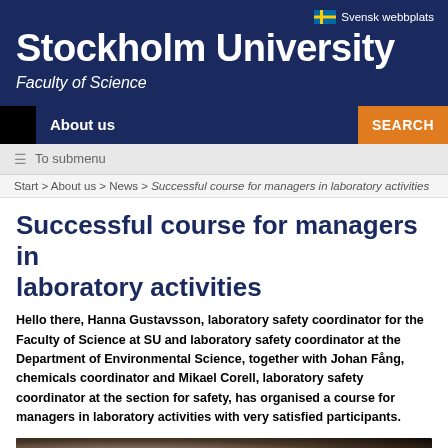Stockholm University – Faculty of Science
Svensk webbplats
About us | SEARCH
≡ To submenu
Start > About us > News > Successful course for managers in laboratory activities
Successful course for managers in laboratory activities
Hello there, Hanna Gustavsson, laboratory safety coordinator for the Faculty of Science at SU and laboratory safety coordinator at the Department of Environmental Science, together with Johan Fång, chemicals coordinator and Mikael Corell, laboratory safety coordinator at the section for safety, has organised a course for managers in laboratory activities with very satisfied participants.
[Figure (photo): Blurred close-up photo of a person in a laboratory setting]